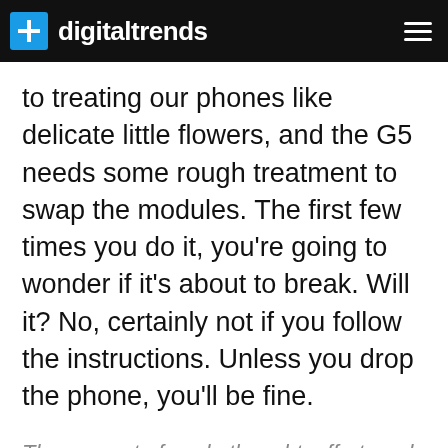digitaltrends
to treating our phones like delicate little flowers, and the G5 needs some rough treatment to swap the modules. The first few times you do it, you’re going to wonder if it's about to break. Will it? No, certainly not if you follow the instructions. Unless you drop the phone, you’ll be fine.
The amount of work, thought, effort, and commitment that has gone into creating the G5 is astonishing.